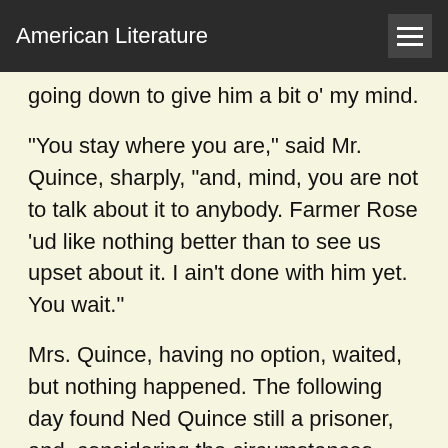American Literature
going down to give him a bit o' my mind.
"You stay where you are," said Mr. Quince, sharply, "and, mind, you are not to talk about it to anybody. Farmer Rose 'ud like nothing better than to see us upset about it. I ain't done with him yet. You wait."
Mrs. Quince, having no option, waited, but nothing happened. The following day found Ned Quince still a prisoner, and, considering the circumstances, remarkably cheerful. He declined point-blank to renounce his preposterous attentions, and said that, living on the premises, he felt half like a son-in-law already. He also complimented the farmer upon the quality of his bread.